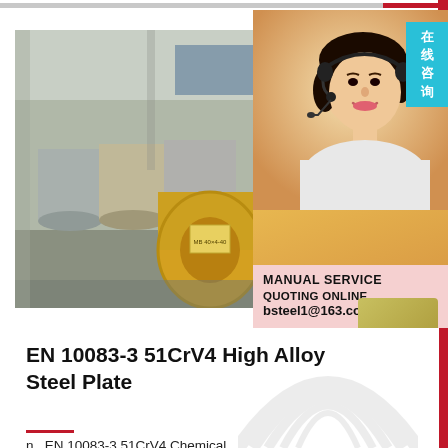[Figure (photo): Industrial warehouse with rows of large steel coils on the floor, some with yellow and gray coverings. Factory setting with high ceiling and equipment visible in background.]
[Figure (photo): Customer service representative, an Asian woman wearing a headset and white uniform, smiling. Beside her: a teal badge with Chinese characters 在线咨询 (online consultation), and a pink panel below reading MANUAL SERVICE, QUOTING ONLINE, bsteel1@163.com]
EN 10083-3 51CrV4 High Alloy Steel Plate
n._EN 10083-3 51CrV4 Chemical